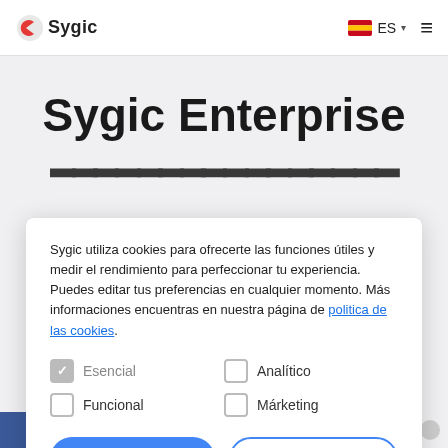Sygic  ES
Sygic Enterprise
Sygic utiliza cookies para ofrecerte las funciones útiles y medir el rendimiento para perfeccionar tu experiencia. Puedes editar tus preferencias en cualquier momento. Más informaciones encuentras en nuestra página de politica de las cookies.
Esencial (checked)
Analítico
Funcional
Márketing